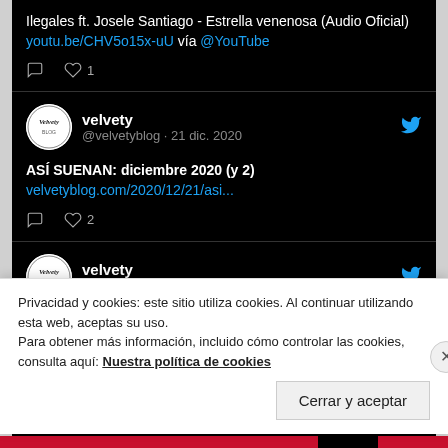Ilegales ft. Josele Santiago - Estrella venenosa (Audio Oficial) youtu.be/CHV5o15x-uU vía @YouTube
[Figure (screenshot): Tweet from velvety (@velvetyblog · 21 dic. 2020): ASÍ SUENAN: diciembre 2020 (y 2) velvetyblog.com/2020/12/21/asi... with 2 likes]
[Figure (screenshot): Partial tweet from velvety account, header only visible]
Privacidad y cookies: este sitio utiliza cookies. Al continuar utilizando esta web, aceptas su uso.
Para obtener más información, incluido cómo controlar las cookies, consulta aquí: Nuestra política de cookies